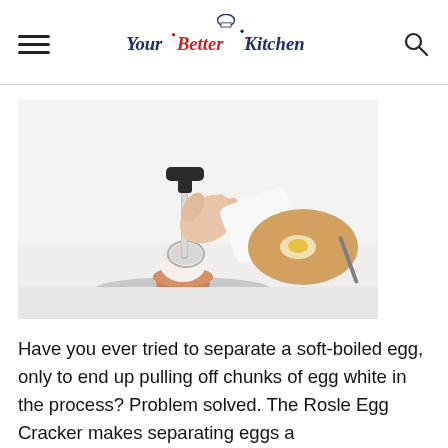Your Better Kitchen
[Figure (photo): A hand holding a stainless steel egg cracker/topper tool positioned over a soft-boiled egg in an egg cup on a silver tray, with a wooden serving board with egg yolk in the background.]
Have you ever tried to separate a soft-boiled egg, only to end up pulling off chunks of egg white in the process? Problem solved. The Rosle Egg Cracker makes separating eggs a